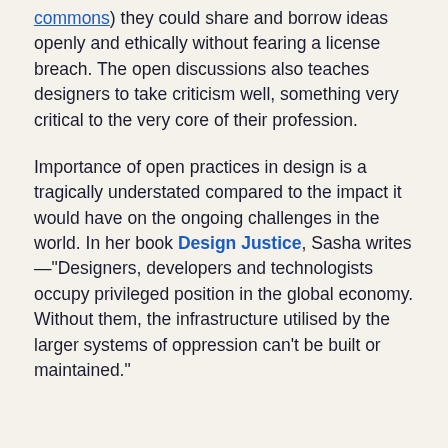commons) they could share and borrow ideas openly and ethically without fearing a license breach. The open discussions also teaches designers to take criticism well, something very critical to the very core of their profession.
Importance of open practices in design is a tragically understated compared to the impact it would have on the ongoing challenges in the world. In her book Design Justice, Sasha writes—"Designers, developers and technologists occupy privileged position in the global economy. Without them, the infrastructure utilised by the larger systems of oppression can't be built or maintained."